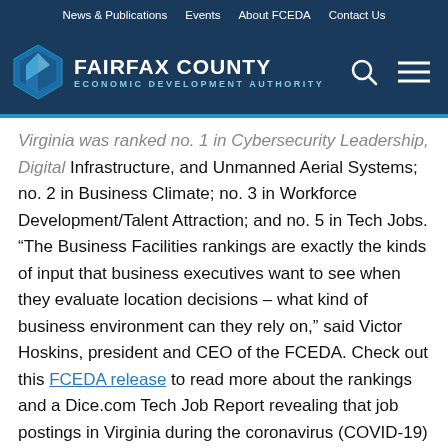News & Publications  Events  About FCEDA  Contact Us
[Figure (logo): Fairfax County Economic Development Authority logo with diamond shape and text]
Virginia was ranked no. 1 in Cybersecurity Leadership, Digital Infrastructure, and Unmanned Aerial Systems; no. 2 in Business Climate; no. 3 in Workforce Development/Talent Attraction; and no. 5 in Tech Jobs. “The Business Facilities rankings are exactly the kinds of input that business executives want to see when they evaluate location decisions – what kind of business environment can they rely on,” said Victor Hoskins, president and CEO of the FCEDA. Check out this FCEDA release to read more about the rankings and a Dice.com Tech Job Report revealing that job postings in Virginia during the coronavirus (COVID-19) pandemic rose 11 percent compared to the second quarter of 2019, even as job postings fell in other tech-focused states.